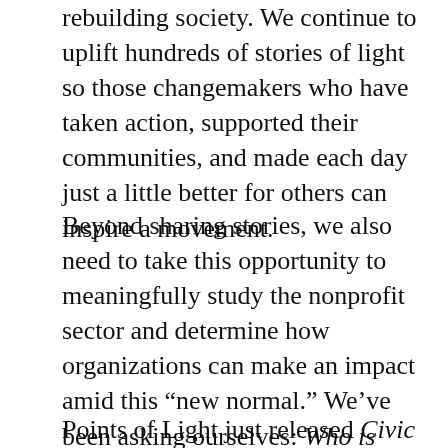rebuilding society. We continue to uplift hundreds of stories of light so those changemakers who have taken action, supported their communities, and made each day just a little better for others can inspire a movement.
Beyond sharing stories, we also need to take this opportunity to meaningfully study the nonprofit sector and determine how organizations can make an impact amid this “new normal.” We’ve been asking ourselves: Who is taking action? In what ways are they engaging and on behalf of which social issues? And for those who are not engaging, why not?
Points of Light just released Civic Life